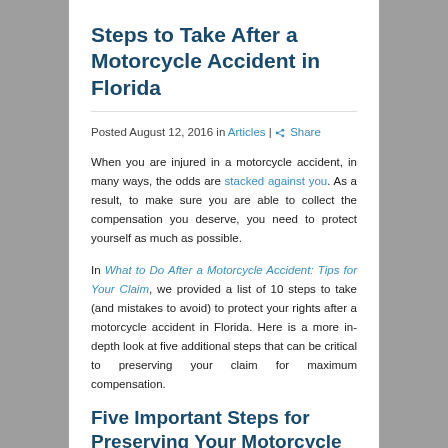Steps to Take After a Motorcycle Accident in Florida
Posted August 12, 2016 in Articles | Share
When you are injured in a motorcycle accident, in many ways, the odds are stacked against you. As a result, to make sure you are able to collect the compensation you deserve, you need to protect yourself as much as possible.
In What to Do After a Motorcycle Accident: Tips for Your Claim, we provided a list of 10 steps to take (and mistakes to avoid) to protect your rights after a motorcycle accident in Florida. Here is a more in-depth look at five additional steps that can be critical to preserving your claim for maximum compensation.
Five Important Steps for Preserving Your Motorcycle Accident Claim